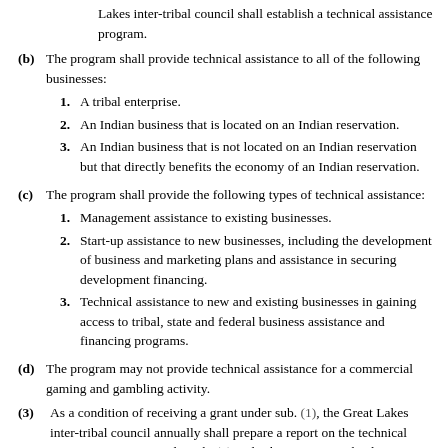Lakes inter-tribal council shall establish a technical assistance program.
(b) The program shall provide technical assistance to all of the following businesses:
1. A tribal enterprise.
2. An Indian business that is located on an Indian reservation.
3. An Indian business that is not located on an Indian reservation but that directly benefits the economy of an Indian reservation.
(c) The program shall provide the following types of technical assistance:
1. Management assistance to existing businesses.
2. Start-up assistance to new businesses, including the development of business and marketing plans and assistance in securing development financing.
3. Technical assistance to new and existing businesses in gaining access to tribal, state and federal business assistance and financing programs.
(d) The program may not provide technical assistance for a commercial gaming and gambling activity.
(3) As a condition of receiving a grant under sub. (1), the Great Lakes inter-tribal council annually shall prepare a report on the technical assistance program under sub. (2) and submit report to the department.